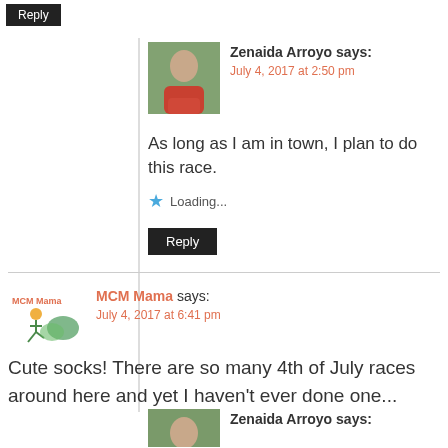Reply
Zenaida Arroyo says:
July 4, 2017 at 2:50 pm
As long as I am in town, I plan to do this race.
Loading...
Reply
MCM Mama says:
July 4, 2017 at 6:41 pm
Cute socks! There are so many 4th of July races around here and yet I haven't ever done one...
Loading...
Reply
Zenaida Arroyo says: